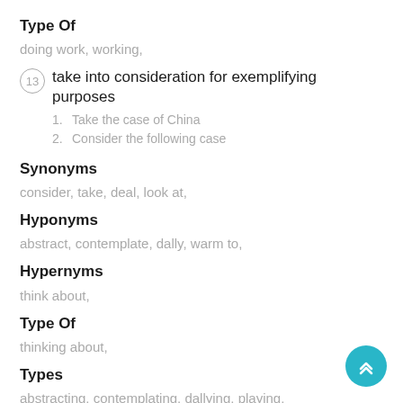Type Of
doing work, working,
13  take into consideration for exemplifying purposes
1. Take the case of China
2. Consider the following case
Synonyms
consider, take, deal, look at,
Hyponyms
abstract, contemplate, dally, warm to,
Hypernyms
think about,
Type Of
thinking about,
Types
abstracting, contemplating, dallying, playing,